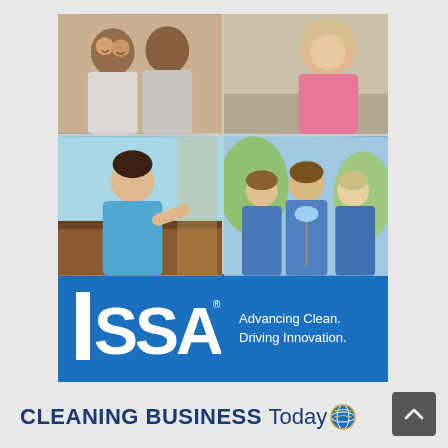[Figure (photo): Collage of cleaning industry workers in a 2x2 grid: top-left shows two women smiling, top-right shows a woman in pink, bottom-left shows a woman in blue cleaning, bottom-right shows three women in blue uniforms outdoors.]
[Figure (logo): ISSA logo on blue background with tagline 'Advancing Clean. Driving Innovation.']
CLEANING BUSINESS TODAY